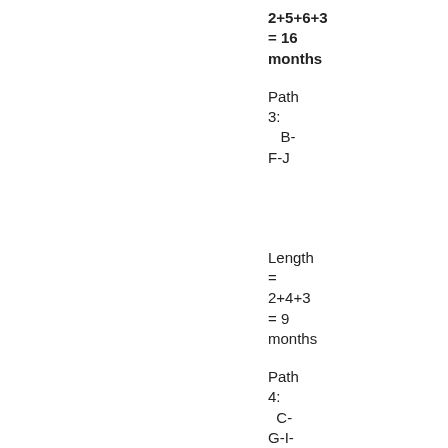2+5+6+3 = 16 months
Path 3:
   B-F-J
Length = 2+4+3 = 9 months
Path 4:
   C-G-I-J
Length =
2+6+3+2